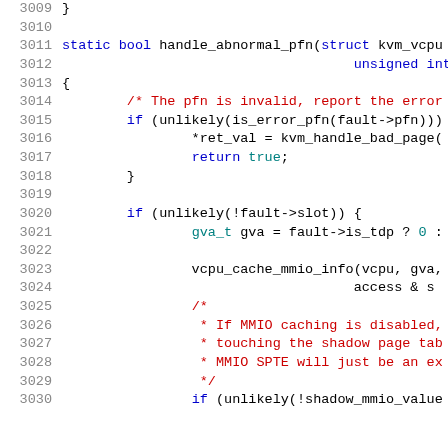[Figure (screenshot): Source code listing showing C function handle_abnormal_pfn, lines 3009-3030, with syntax highlighting in monospace font. Line numbers in gray on left, keywords in blue, function names in black, strings/comments in red, variables in teal.]